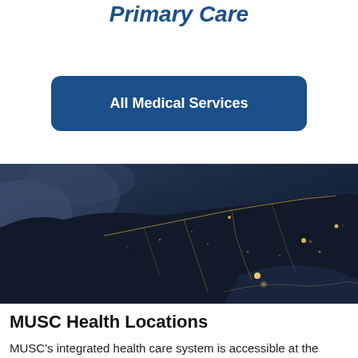Primary Care
All Medical Services
[Figure (photo): Aerial night-time satellite view of South Carolina coast with city lights and road networks visible against dark landscape and ocean.]
MUSC Health Locations
MUSC's integrated health care system is accessible at the downtown Charleston campus and through more